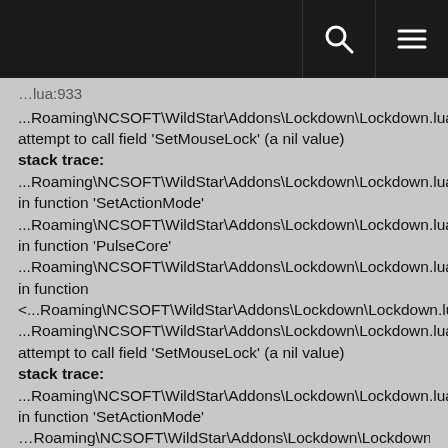[header bar with search and menu icons]
…lua:933
...Roaming\NCSOFT\WildStar\Addons\Lockdown\Lockdown.lua:1366: attempt to call field 'SetMouseLock' (a nil value)
stack trace:
...Roaming\NCSOFT\WildStar\Addons\Lockdown\Lockdown.lua:1366: in function 'SetActionMode'
...Roaming\NCSOFT\WildStar\Addons\Lockdown\Lockdown.lua:926: in function 'PulseCore'
...Roaming\NCSOFT\WildStar\Addons\Lockdown\Lockdown.lua:936: in function
<...Roaming\NCSOFT\WildStar\Addons\Lockdown\Lockdown.lua:935>
...Roaming\NCSOFT\WildStar\Addons\Lockdown\Lockdown.lua:1366: attempt to call field 'SetMouseLock' (a nil value)
stack trace:
...Roaming\NCSOFT\WildStar\Addons\Lockdown\Lockdown.lua:1366: in function 'SetActionMode'
...Roaming\NCSOFT\WildStar\Addons\Lockdown\Lockdown.lua: